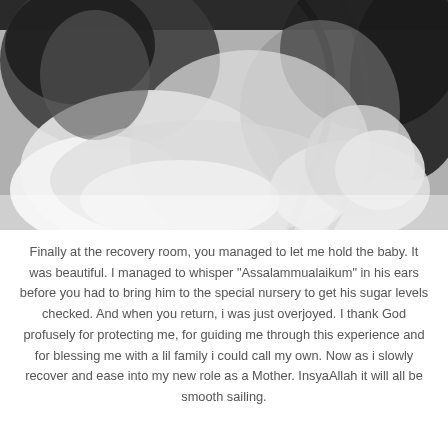[Figure (photo): Black and white photograph of a mother holding a newborn baby swaddled in white cloth. The baby is in the upper left and the mother's face is partially visible in the upper right with dark hair.]
Finally at the recovery room, you managed to let me hold the baby. It was beautiful. I managed to whisper "Assalammualaikum" in his ears before you had to bring him to the special nursery to get his sugar levels checked. And when you return, i was just overjoyed. I thank God profusely for protecting me, for guiding me through this experience and for blessing me with a lil family i could call my own. Now as i slowly recover and ease into my new role as a Mother. InsyaAllah it will all be smooth sailing.